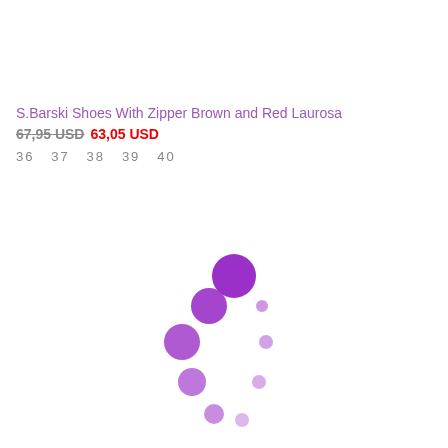S.Barski Shoes With Zipper Brown and Red Laurosa
67,95 USD  63,05 USD
36  37  38  39  40
[Figure (infographic): Purple loading spinner animation dots arranged in a circular pattern]